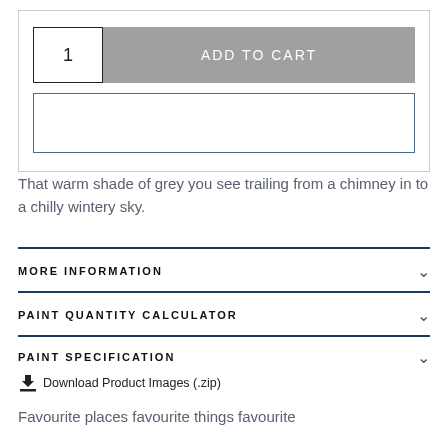[Figure (screenshot): E-commerce product page UI showing quantity box with '1', grey 'ADD TO CART' button, and an empty text input field, all inside a bordered container.]
That warm shade of grey you see trailing from a chimney in to a chilly wintery sky.
MORE INFORMATION
PAINT QUANTITY CALCULATOR
PAINT SPECIFICATION
Download Product Images (.zip)
Favourite places favourite things favourite